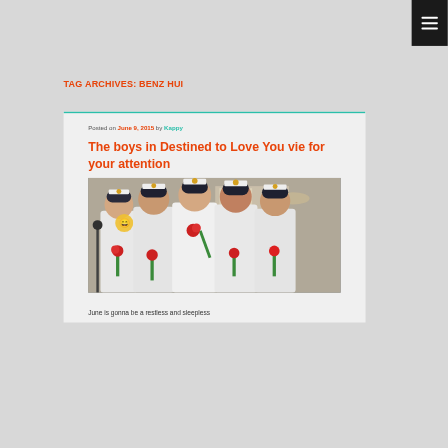≡ (menu button)
TAG ARCHIVES: BENZ HUI
Posted on June 9, 2015 by Kappy
The boys in Destined to Love You vie for your attention
[Figure (photo): Group of young men dressed in white naval/military uniforms with dark caps, each holding red roses, posed together indoors]
June is gonna be a restless and sleepless